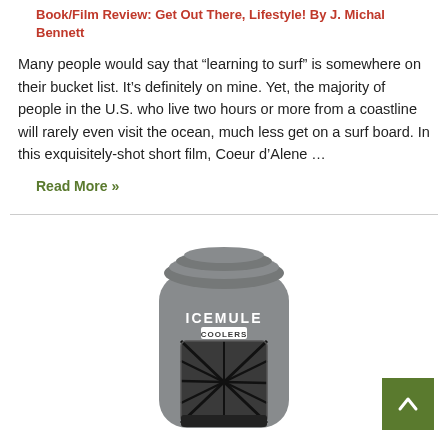Book/Film Review: Get Out There, Lifestyle! By J. Michal Bennett
Many people would say that “learning to surf” is somewhere on their bucket list. It’s definitely on mine. Yet, the majority of people in the U.S. who live two hours or more from a coastline will rarely even visit the ocean, much less get on a surf board. In this exquisitely-shot short film, Coeur d’Alene …
Read More »
[Figure (photo): IceMule Coolers product photo showing a grey dry-bag style backpack cooler with a bungee cord front pocket and the ICEMULE COOLERS logo on the front.]